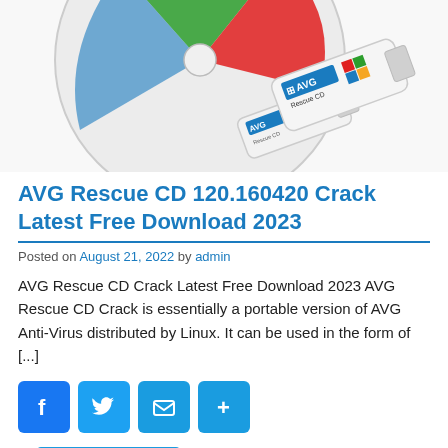[Figure (photo): AVG Rescue CD product image showing a CD disc, USB drive, and AVG branding]
AVG Rescue CD 120.160420 Crack Latest Free Download 2023
Posted on August 21, 2022 by admin
AVG Rescue CD Crack Latest Free Download 2023 AVG Rescue CD Crack is essentially a portable version of AVG Anti-Virus distributed by Linux. It can be used in the form of [...]
[Figure (infographic): Social share buttons: Facebook, Twitter, Email, Share more]
READ MORE